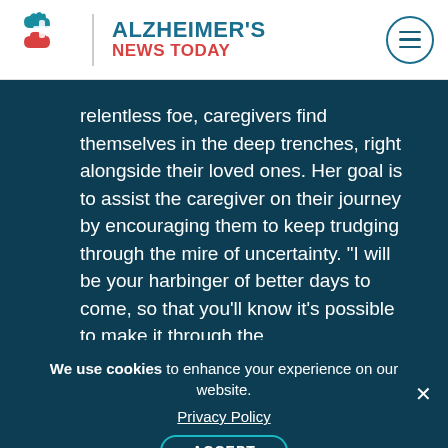[Figure (logo): Alzheimer's News Today logo with two puzzle-piece brain icons in red and teal, site name in two lines: ALZHEIMER'S in teal, NEWS TODAY in red]
relentless foe, caregivers find themselves in the deep trenches, right alongside their loved ones. Her goal is to assist the caregiver on their journey by encouraging them to keep trudging through the mire of uncertainty. “I will be your harbinger of better days to come, so that you’ll know it’s possible to make it through the
We use cookies to enhance your experience on our website.
Privacy Policy
ACCEPT